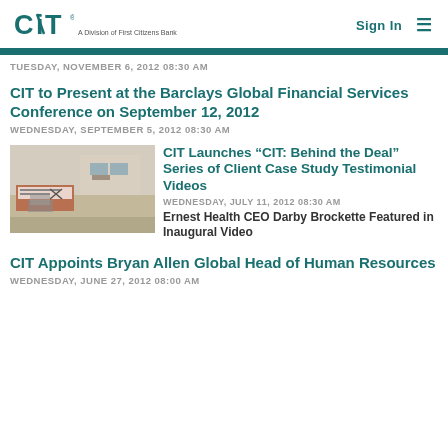CIT · A Division of First Citizens Bank | Sign In
TUESDAY, NOVEMBER 6, 2012 08:30 AM
CIT to Present at the Barclays Global Financial Services Conference on September 12, 2012
WEDNESDAY, SEPTEMBER 5, 2012 08:30 AM
[Figure (photo): Exterior photo of a building with a brick sign, desert landscape]
CIT Launches “CIT: Behind the Deal” Series of Client Case Study Testimonial Videos
WEDNESDAY, JULY 11, 2012 08:30 AM
Ernest Health CEO Darby Brockette Featured in Inaugural Video
CIT Appoints Bryan Allen Global Head of Human Resources
WEDNESDAY, JUNE 27, 2012 08:00 AM